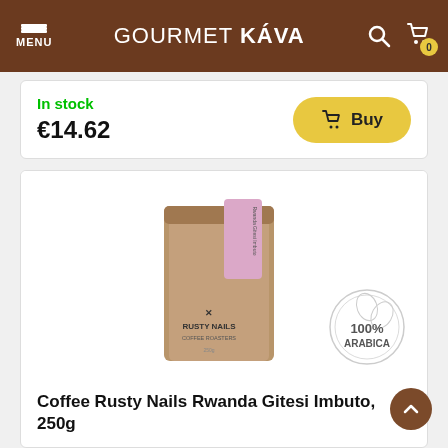MENU | GOURMET KÁVA
In stock
€14.62
Buy
[Figure (photo): Coffee bag from Rusty Nails Coffee Roasters with pink label, and a 100% Arabica circular badge]
Coffee Rusty Nails Rwanda Gitesi Imbuto, 250g
Taste great coffee from the Rusty Nails roastery.